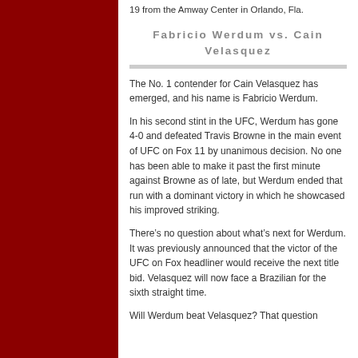19 from the Amway Center in Orlando, Fla.
Fabricio Werdum vs. Cain Velasquez
The No. 1 contender for Cain Velasquez has emerged, and his name is Fabricio Werdum.
In his second stint in the UFC, Werdum has gone 4-0 and defeated Travis Browne in the main event of UFC on Fox 11 by unanimous decision. No one has been able to make it past the first minute against Browne as of late, but Werdum ended that run with a dominant victory in which he showcased his improved striking.
There’s no question about what’s next for Werdum. It was previously announced that the victor of the UFC on Fox headliner would receive the next title bid. Velasquez will now face a Brazilian for the sixth straight time.
Will Werdum beat Velasquez? That question